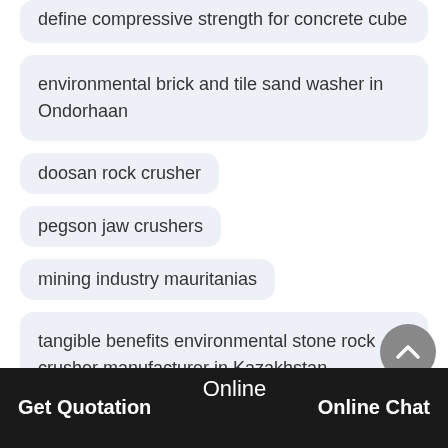define compressive strength for concrete cube
environmental brick and tile sand washer in Ondorhaan
doosan rock crusher
pegson jaw crushers
mining industry mauritanias
tangible benefits environmental stone rock crusher manufacturer in Kazakhstan
[Figure (other): Small broken image icon]
Get Quotation   Online   Online Chat